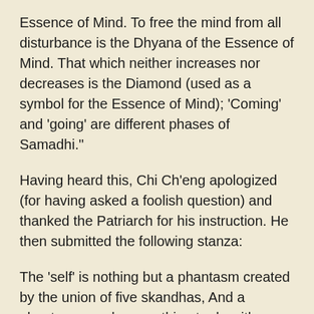Essence of Mind. To free the mind from all disturbance is the Dhyana of the Essence of Mind. That which neither increases nor decreases is the Diamond (used as a symbol for the Essence of Mind); 'Coming' and 'going' are different phases of Samadhi."
Having heard this, Chi Ch'eng apologized (for having asked a foolish question) and thanked the Patriarch for his instruction. He then submitted the following stanza:
The 'self' is nothing but a phantasm created by the union of five skandhas, And a phantasm can have nothing to do with absolute reality. To hold that there is a Tathata (Suchness) for us to aim at or to return